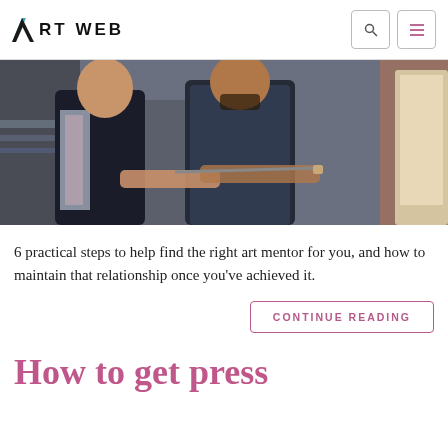ART WEB
[Figure (photo): Two people in an art studio, one in a dark vest and one in a dark top, exchanging a paintbrush near a canvas on an easel.]
6 practical steps to help find the right art mentor for you, and how to maintain that relationship once you've achieved it.
CONTINUE READING
How to get press